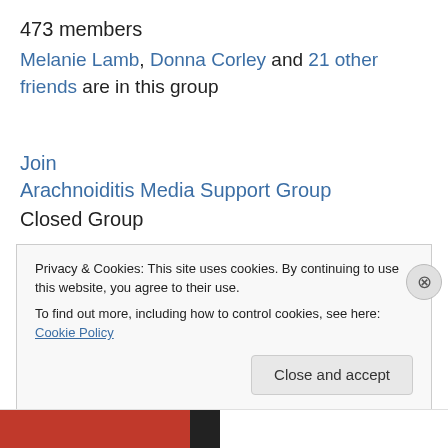473 members
Melanie Lamb, Donna Corley and 21 other friends are in this group
Join
Arachnoiditis Media Support Group
Closed Group
Hello and welcome to the Arachnoiditis Media Support Group. I was approached by Phillipa Mckee who has
Privacy & Cookies: This site uses cookies. By continuing to use this website, you agree to their use.
To find out more, including how to control cookies, see here: Cookie Policy
Close and accept